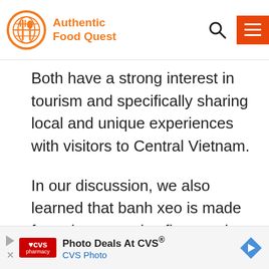Authentic Food Quest
Both have a strong interest in tourism and specifically sharing local and unique experiences with visitors to Central Vietnam.
In our discussion, we also learned that banh xeo is made from the same rice flour as the mi quang noodles.
[Figure (screenshot): CVS Photo advertisement banner: Photo Deals At CVS® with CVS Pharmacy logo and navigation arrow]